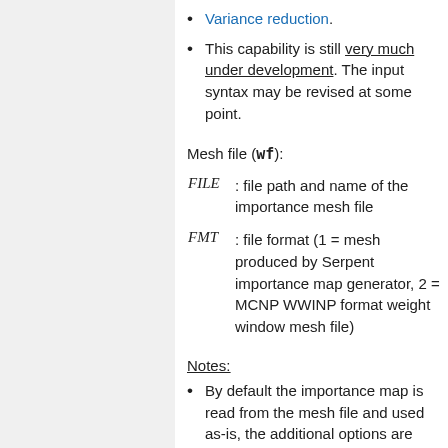Variance reduction.
This capability is still very much under development. The input syntax may be revised at some point.
Mesh file (wf):
FILE : file path and name of the importance mesh file
FMT : file format (1 = mesh produced by Serpent importance map generator, 2 = MCNP WWINP format weight window mesh file)
Notes:
By default the importance map is read from the mesh file and used as-is, the additional options are provided for adjustments.
Currently the MCNP format only